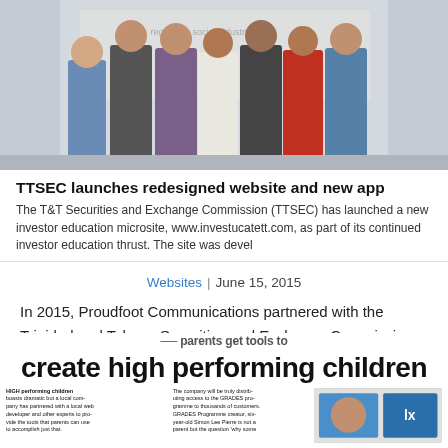[Figure (photo): Group photo of seven professionals (men and women) standing in front of a banner, dressed in business attire]
TTSEC launches redesigned website and new app
The T&T Securities and Exchange Commission (TTSEC) has launched a new investor education microsite, www.investucatett.com, as part of its continued investor education thrust. The site was devel
Websites | June 15, 2015
In 2015, Proudfoot Communications partnered with the Trinidad and Tobago Securities and Exchange Commission (TTSEC) to develop an investor education website.
[Figure (photo): Partial newspaper clipping visible at bottom of page showing headline 'create high performing children' with two columns of small text and a photo on the right]